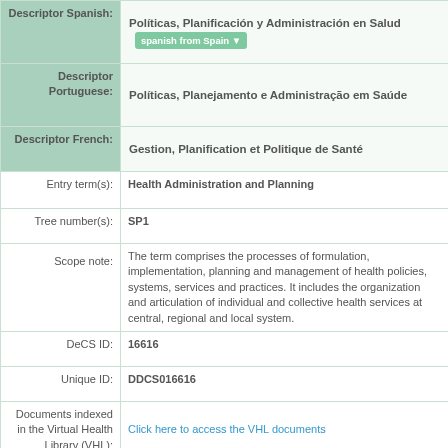| Field | Value |
| --- | --- |
| Descriptor Spanish: | Políticas, Planificación y Administración en Salud  [spanish from Spain] |
| Descriptor Portuguese: | Políticas, Planejamento e Administração em Saúde |
| Descriptor French: | Gestion, Planification et Politique de Santé |
| Entry term(s): | Health Administration and Planning |
| Tree number(s): | SP1 |
| Scope note: | The term comprises the processes of formulation, implementation, planning and management of health policies, systems, services and practices. It includes the organization and articulation of individual and collective health services at central, regional and local system. |
| DeCS ID: | 16616 |
| Unique ID: | DDCS016616 |
| Documents indexed in the Virtual Health Library (VHL): | Click here to access the VHL documents |